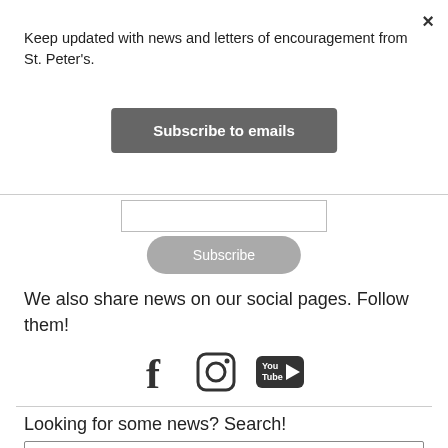×
Keep updated with news and letters of encouragement from St. Peter's.
Subscribe to emails
[Figure (screenshot): Email input field (text box)]
Subscribe
We also share news on our social pages. Follow them!
[Figure (infographic): Social media icons: Facebook, Instagram, YouTube]
Looking for some news? Search!
[Figure (screenshot): Search input box with magnifying glass icon]